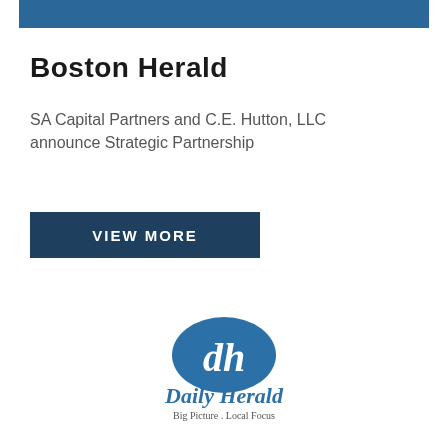[Figure (other): Blue horizontal banner bar at top of page]
Boston Herald
SA Capital Partners and C.E. Hutton, LLC announce Strategic Partnership
[Figure (other): Dark blue button/banner with text VIEW MORE]
[Figure (logo): Daily Herald logo: blue oval with white 'dh' monogram above 'Daily Herald' in blue serif font with tagline 'Big Picture . Local Focus']